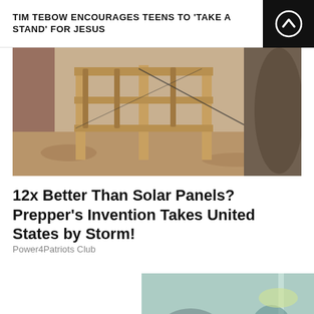TIM TEBOW ENCOURAGES TEENS TO 'TAKE A STAND' FOR JESUS
[Figure (photo): Outdoor photo of wooden construction frame structure on dirt ground]
12x Better Than Solar Panels? Prepper's Invention Takes United States by Storm!
Power4Patriots Club
[Figure (photo): Blurred hospital/medical setting with IV drip in foreground and medical staff in background, teal/blue-green tones]